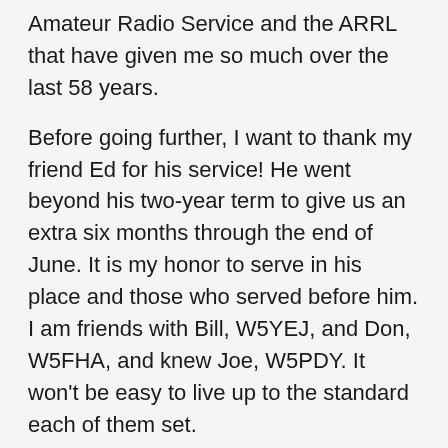Amateur Radio Service and the ARRL that have given me so much over the last 58 years.
Before going further, I want to thank my friend Ed for his service! He went beyond his two-year term to give us an extra six months through the end of June. It is my honor to serve in his place and those who served before him. I am friends with Bill, W5YEJ, and Don, W5FHA, and knew Joe, W5PDY. It won't be easy to live up to the standard each of them set.
My primary roles are to represent the ARRL to you and to serve you as your representative to the ARRL. While written last, I view my service to you as first.
The Section Manager's (SM) job is a big one! It covers the Five ARRL Pillars which include Public Service, Advocacy, Education, Technology, and Membership found at: